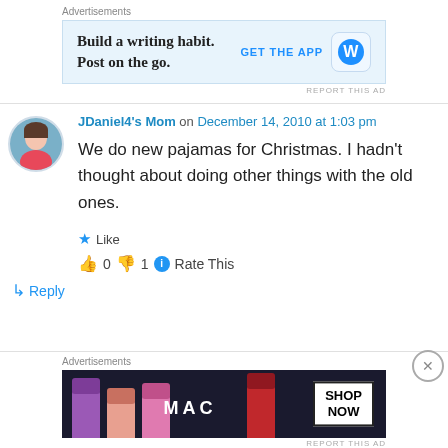Advertisements
[Figure (screenshot): WordPress app advertisement: 'Build a writing habit. Post on the go.' with GET THE APP button and WordPress logo]
REPORT THIS AD
JDaniel4's Mom on December 14, 2010 at 1:03 pm
We do new pajamas for Christmas. I hadn't thought about doing other things with the old ones.
★ Like
👍 0 👎 1 ℹ Rate This
↳ Reply
Advertisements
[Figure (screenshot): MAC cosmetics advertisement with lipsticks and SHOP NOW button]